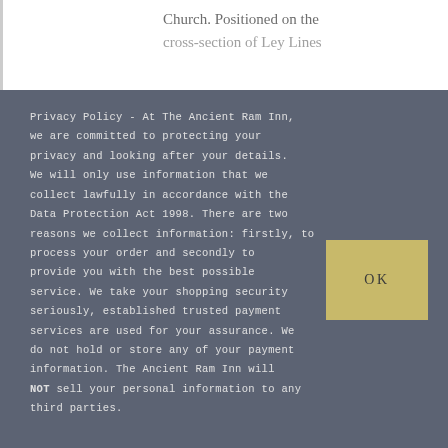Church. Positioned on the cross-section of Ley Lines
Privacy Policy - At The Ancient Ram Inn, we are committed to protecting your privacy and looking after your details. We will only use information that we collect lawfully in accordance with the Data Protection Act 1998. There are two reasons we collect information: firstly, to process your order and secondly to provide you with the best possible service. We take your shopping security seriously, established trusted payment services are used for your assurance. We do not hold or store any of your payment information. The Ancient Ram Inn will NOT sell your personal information to any third parties.
OK